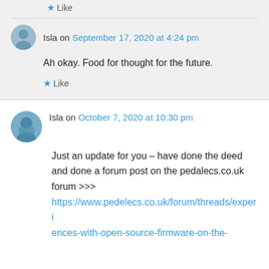Like
Isla on September 17, 2020 at 4:24 pm
Ah okay. Food for thought for the future.
Like
Isla on October 7, 2020 at 10:30 pm
Just an update for you – have done the deed and done a forum post on the pedalecs.co.uk forum >>>
https://www.pedelecs.co.uk/forum/threads/experiences-with-open-source-firmware-on-the-